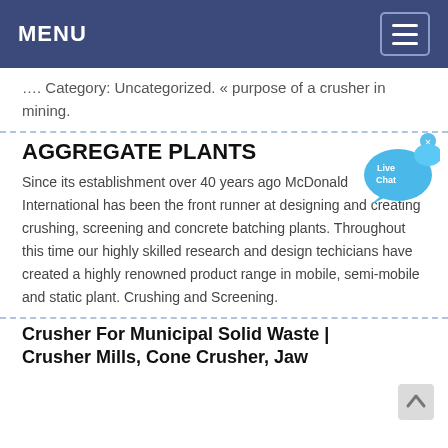MENU
…. Category: Uncategorized. « purpose of a crusher in mining.
AGGREGATE PLANTS
[Figure (illustration): Live Chat widget bubble icon in blue]
Since its establishment over 40 years ago McDonald International has been the front runner at designing and creating crushing, screening and concrete batching plants. Throughout this time our highly skilled research and design techicians have created a highly renowned product range in mobile, semi-mobile and static plant. Crushing and Screening.
Crusher For Municipal Solid Waste | Crusher Mills, Cone Crusher, Jaw